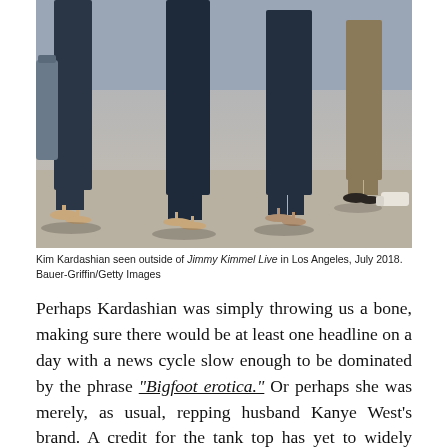[Figure (photo): Photograph showing legs and lower bodies of people walking on a sidewalk; women wearing tight dark pants and heels, man in background wearing khaki pants.]
Kim Kardashian seen outside of Jimmy Kimmel Live in Los Angeles, July 2018. Bauer-Griffin/Getty Images
Perhaps Kardashian was simply throwing us a bone, making sure there would be at least one headline on a day with a news cycle slow enough to be dominated by the phrase "Bigfoot erotica." Or perhaps she was merely, as usual, repping husband Kanye West's brand. A credit for the tank top has yet to widely circulate, but it's certainly plausible that it's another one of the cropped